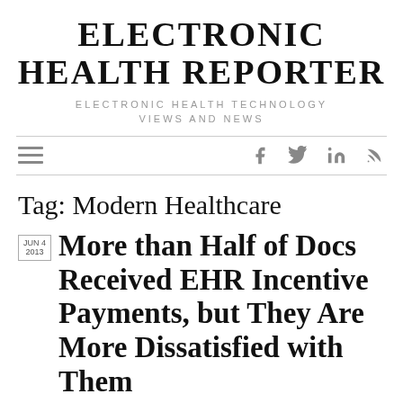ELECTRONIC HEALTH REPORTER
ELECTRONIC HEALTH TECHNOLOGY VIEWS AND NEWS
Tag: Modern Healthcare
JUN 4 2013
More than Half of Docs Received EHR Incentive Payments, but They Are More Dissatisfied with Them